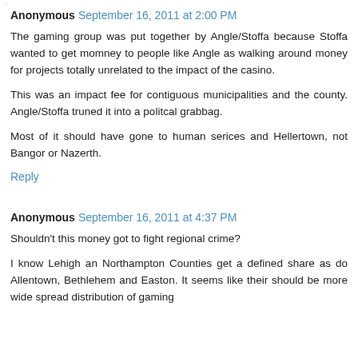Anonymous September 16, 2011 at 2:00 PM
The gaming group was put together by Angle/Stoffa because Stoffa wanted to get momney to people like Angle as walking around money for projects totally unrelated to the impact of the casino.
This was an impact fee for contiguous municipalities and the county. Angle/Stoffa truned it into a politcal grabbag.
Most of it should have gone to human serices and Hellertown, not Bangor or Nazerth.
Reply
Anonymous September 16, 2011 at 4:37 PM
Shouldn't this money got to fight regional crime?
I know Lehigh an Northampton Counties get a defined share as do Allentown, Bethlehem and Easton. It seems like their should be more wide spread distribution of gaming